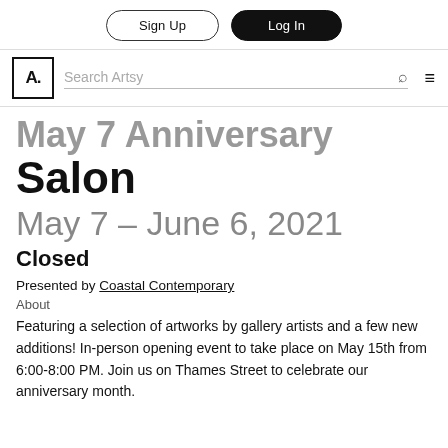Sign Up | Log In
A. | Search Artsy
May 7 Anniversary Salon
May 7 – June 6, 2021
Closed
Presented by Coastal Contemporary
About
Featuring a selection of artworks by gallery artists and a few new additions! In-person opening event to take place on May 15th from 6:00-8:00 PM. Join us on Thames Street to celebrate our anniversary month.